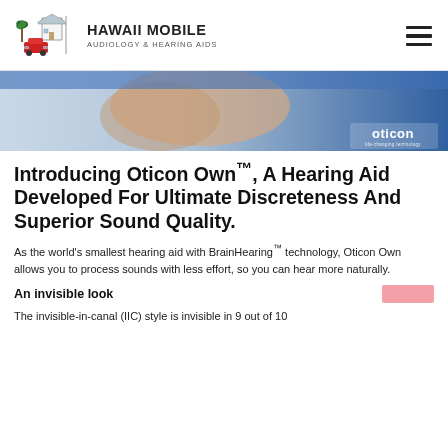[Figure (logo): Hawaii Mobile Audiology & Hearing Aids logo with palm tree, house, and red car icon]
[Figure (photo): Close-up of hands holding a small hearing aid device, with Oticon branding in lower right corner, blue background]
Introducing Oticon Own™, A Hearing Aid Developed For Ultimate Discreteness And Superior Sound Quality.
As the world's smallest hearing aid with BrainHearing™ technology, Oticon Own allows you to process sounds with less effort, so you can hear more naturally.
An invisible look
The invisible-in-canal (IIC) style is invisible in 9 out of 10